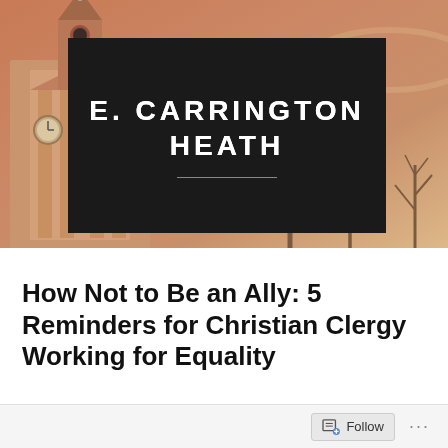[Figure (photo): Church building with steeple against a warm sunset/dusk sky with bare trees; warm orange-pink tones]
E. CARRINGTON HEATH
How Not to Be an Ally: 5 Reminders for Christian Clergy Working for Equality
Follow